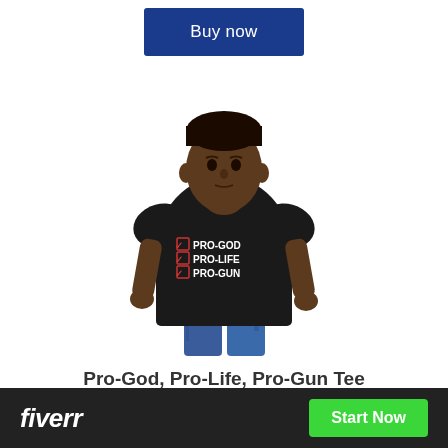Buy now
[Figure (photo): Man wearing a black t-shirt with checkboxes and text reading PRO-GOD, PRO-LIFE, PRO-GUN]
Pro-God, Pro-Life, Pro-Gun Tee
[Figure (logo): Fiverr advertisement banner with fiverr logo on black background and green Start Now button]